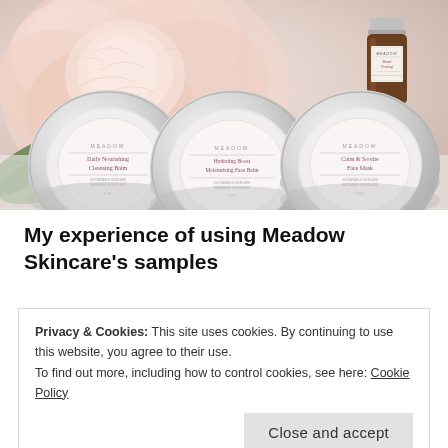[Figure (photo): Photo of three Meadow Skincare silver tin products and a small amber essential oil bottle arranged in front of a large pink peony flower with green leaves on a white background. The three tins are labeled: Daily Nourishing Cleansing Balm, Hydrating Boost Moisturising Face Balm, and Calm & Soothe Face Mask.]
My experience of using Meadow Skincare's samples
Privacy & Cookies: This site uses cookies. By continuing to use this website, you agree to their use.
To find out more, including how to control cookies, see here: Cookie Policy
Close and accept